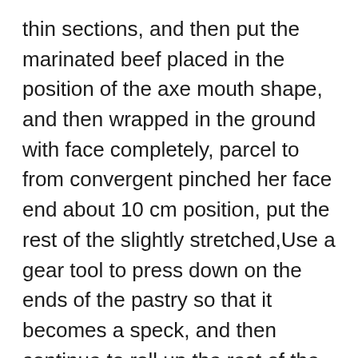thin sections, and then put the marinated beef placed in the position of the axe mouth shape, and then wrapped in the ground with face completely, parcel to from convergent pinched her face end about 10 cm position, put the rest of the slightly stretched,Use a gear tool to press down on the ends of the pastry so that it becomes a speck, and then continue to roll up the rest of the pastry to give it a crispy crust.Sprinkle white or black sesame seeds on top of the Patty.When the oil in the fryer is 70% hot, put in the patties and fry them with the lid on for 2-3 minutes. Remove the lid and turn each patties and continue to cook. Remove the lid and remove the patties from the pan and place them in a stainless steel strainer.The skin is yellow and smells special, the skin is fried very crispy, and the skin is very thin, the